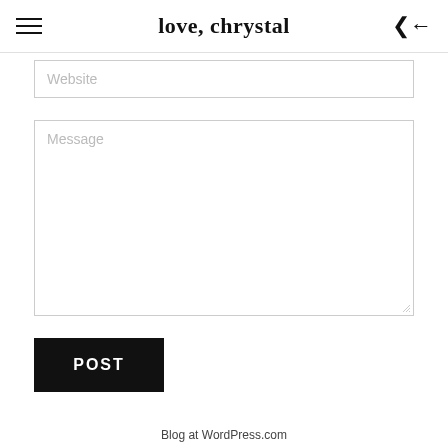love, chrystal
Website
Message
POST
Blog at WordPress.com